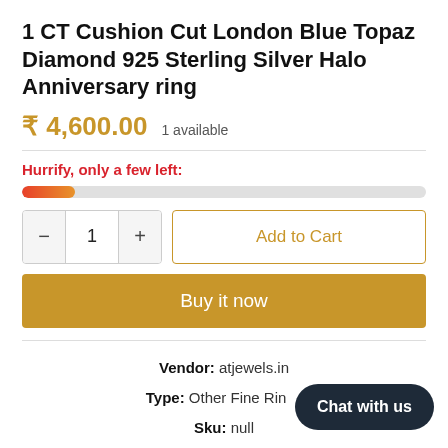1 CT Cushion Cut London Blue Topaz Diamond 925 Sterling Silver Halo Anniversary ring
₹ 4,600.00   1 available
Hurrify, only a few left:
[Figure (other): Progress bar showing low stock level, approximately 13% filled with red-orange gradient on grey background]
— 1 +   Add to Cart
Buy it now
Vendor: atjewels.in
Type: Other Fine Rings
Sku: null
Available: Available
Chat with us